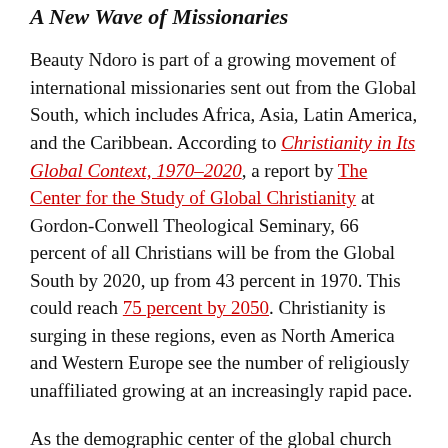A New Wave of Missionaries
Beauty Ndoro is part of a growing movement of international missionaries sent out from the Global South, which includes Africa, Asia, Latin America, and the Caribbean. According to Christianity in Its Global Context, 1970–2020, a report by The Center for the Study of Global Christianity at Gordon-Conwell Theological Seminary, 66 percent of all Christians will be from the Global South by 2020, up from 43 percent in 1970. This could reach 75 percent by 2050. Christianity is surging in these regions, even as North America and Western Europe see the number of religiously unaffiliated growing at an increasingly rapid pace.
As the demographic center of the global church shifts, so too does fervor for international missions. As